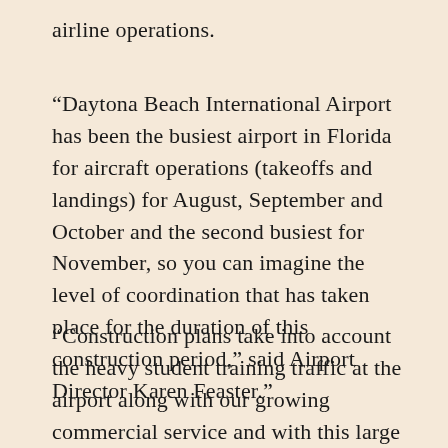airline operations.
“Daytona Beach International Airport has been the busiest airport in Florida for aircraft operations (takeoffs and landings) for August, September and October and the second busiest for November, so you can imagine the level of coordination that has taken place for the duration of this construction period,” said Airport Director Karen Feaster.”
“Construction plans take into account the heavy student training traffic at the airport along with our growing commercial service and with this large of a project, I’m proud there were no safety issues or